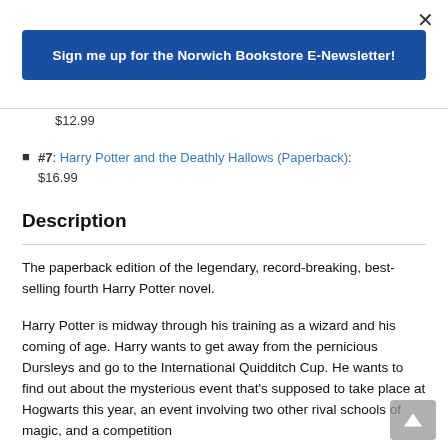×
Sign me up for the Norwich Bookstore E-Newsletter!
$12.99
#7: Harry Potter and the Deathly Hallows (Paperback): $16.99
Description
The paperback edition of the legendary, record-breaking, best-selling fourth Harry Potter novel.
Harry Potter is midway through his training as a wizard and his coming of age. Harry wants to get away from the pernicious Dursleys and go to the International Quidditch Cup. He wants to find out about the mysterious event that's supposed to take place at Hogwarts this year, an event involving two other rival schools of magic, and a competition